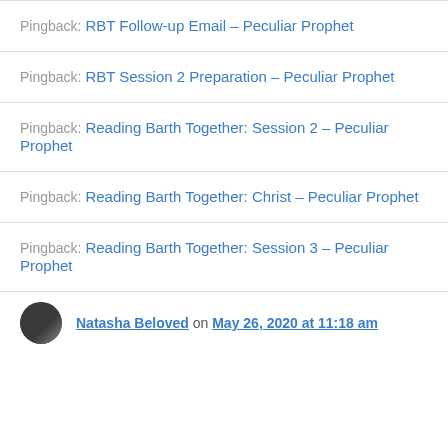Pingback: RBT Follow-up Email – Peculiar Prophet
Pingback: RBT Session 2 Preparation – Peculiar Prophet
Pingback: Reading Barth Together: Session 2 – Peculiar Prophet
Pingback: Reading Barth Together: Christ – Peculiar Prophet
Pingback: Reading Barth Together: Session 3 – Peculiar Prophet
Natasha Beloved on May 26, 2020 at 11:18 am